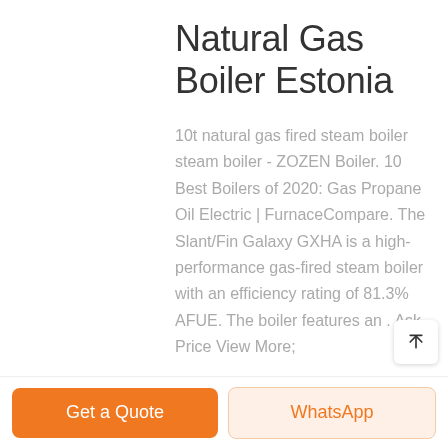Natural Gas Boiler Estonia
10t natural gas fired steam boiler steam boiler - ZOZEN Boiler. 10 Best Boilers of 2020: Gas Propane Oil Electric | FurnaceCompare. The Slant/Fin Galaxy GXHA is a high-performance gas-fired steam boiler with an efficiency rating of 81.3% AFUE. The boiler features an . Ask Price View More;
Get a Quote
WhatsApp